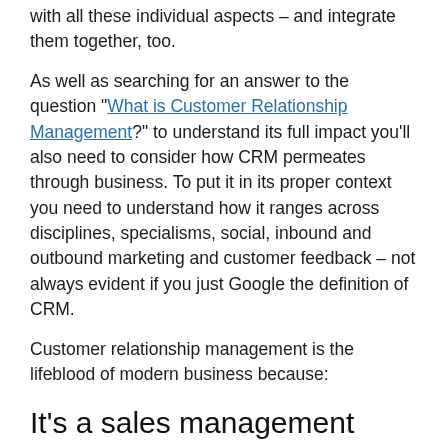with all these individual aspects – and integrate them together, too.
As well as searching for an answer to the question "What is Customer Relationship Management?" to understand its full impact you'll also need to consider how CRM permeates through business. To put it in its proper context you need to understand how it ranges across disciplines, specialisms, social, inbound and outbound marketing and customer feedback – not always evident if you just Google the definition of CRM.
Customer relationship management is the lifeblood of modern business because:
It's a sales management system
You can keep your pipeline filled with solid leads and close more deals when you can track all your customer interactions in one place. You get real visibility of all the most recent activities on an account so sales teams can have meaningful conversations with prospects. Leads